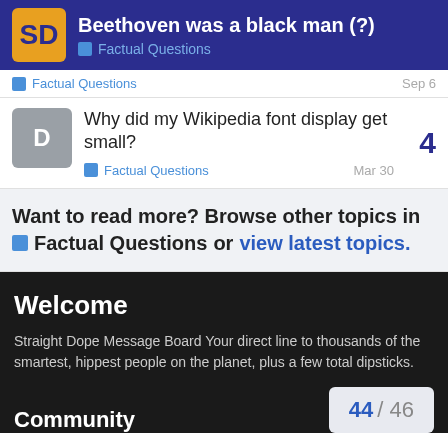Beethoven was a black man (?) — Factual Questions
Factual Questions — Sep 6
Why did my Wikipedia font display get small? — Factual Questions — Mar 30 — 4 replies
Want to read more? Browse other topics in Factual Questions or view latest topics.
Welcome
Straight Dope Message Board Your direct line to thousands of the smartest, hippest people on the planet, plus a few total dipsticks.
Community
44 / 46